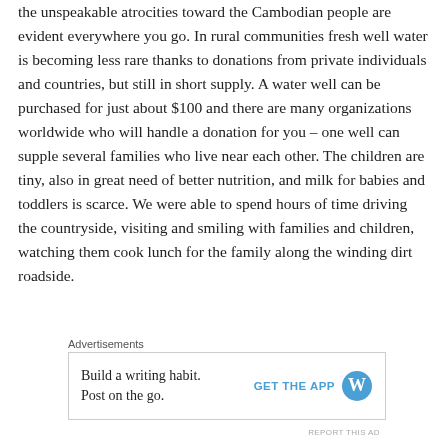the unspeakable atrocities toward the Cambodian people are evident everywhere you go. In rural communities fresh well water is becoming less rare thanks to donations from private individuals and countries, but still in short supply. A water well can be purchased for just about $100 and there are many organizations worldwide who will handle a donation for you – one well can supple several families who live near each other. The children are tiny, also in great need of better nutrition, and milk for babies and toddlers is scarce. We were able to spend hours of time driving the countryside, visiting and smiling with families and children, watching them cook lunch for the family along the winding dirt roadside.
Advertisements
[Figure (other): Advertisement banner: 'Build a writing habit. Post on the go.' with a 'GET THE APP' call-to-action and WordPress logo]